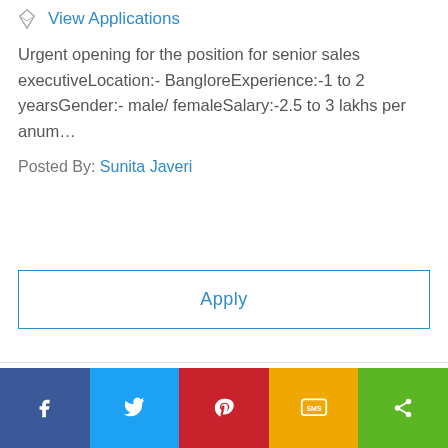View Applications
Urgent opening for the position for senior sales executiveLocation:- BangloreExperience:-1 to 2 yearsGender:- male/ femaleSalary:-2.5 to 3 lakhs per anum…
Posted By: Sunita Javeri
Apply
[Figure (other): Social share bar with icons: Facebook (blue), Twitter (light blue), Pinterest (red), SMS (yellow/orange), Share (green)]